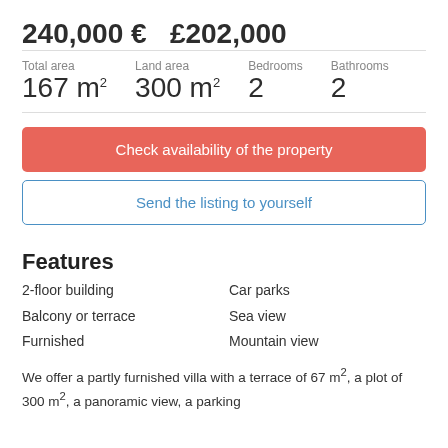240,000 €   £202,000
Total area 167 m² | Land area 300 m² | Bedrooms 2 | Bathrooms 2
Check availability of the property
Send the listing to yourself
Features
2-floor building
Car parks
Balcony or terrace
Sea view
Furnished
Mountain view
We offer a partly furnished villa with a terrace of 67 m², a plot of 300 m², a panoramic view, a parking